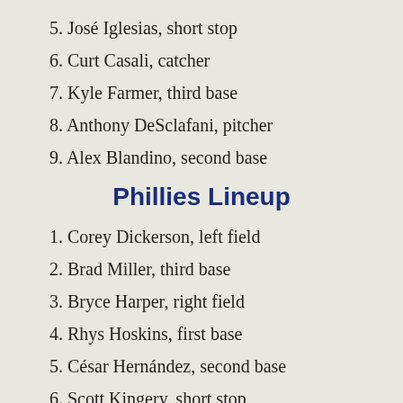5. José Iglesias, short stop
6. Curt Casali, catcher
7. Kyle Farmer, third base
8. Anthony DeSclafani, pitcher
9. Alex Blandino, second base
Phillies Lineup
1. Corey Dickerson, left field
2. Brad Miller, third base
3. Bryce Harper, right field
4. Rhys Hoskins, first base
5. César Hernández, second base
6. Scott Kingery, short stop
7. Adam Haseley, center field
8. Andrew Knapp, catcher